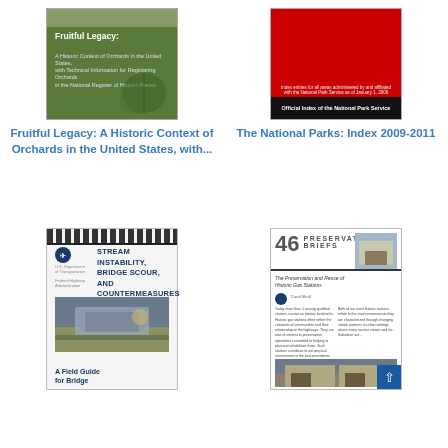[Figure (photo): Book cover: Fruitful Legacy - A Historic Context of Orchards in the United States, green background with leaf imagery]
Fruitful Legacy: A Historic Context of Orchards in the United States, with...
[Figure (photo): Book cover: The National Parks Index 2009-2011, red cover with black bottom bar reading Official Index of the National Park Service]
The National Parks: Index 2009-2011
[Figure (photo): Book cover: Stream Instability, Bridge Scour, and Countermeasures - A Field Guide for Bridge, spiral bound, Federal Highway Administration]
[Figure (photo): Document page: 46 Preservation Briefs - The Preservation and Reuse of Historic Gas Stations]